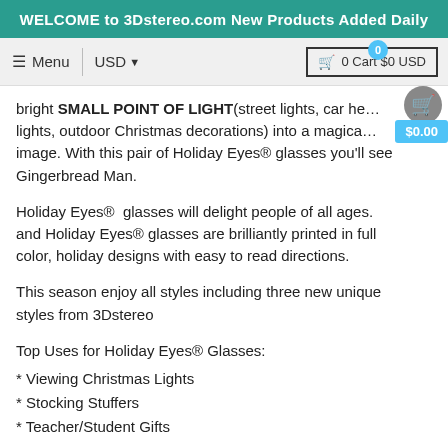WELCOME to 3Dstereo.com New Products Added Daily
≡ Menu  |  USD ▼       🛒 0 Cart $0 USD
bright SMALL POINT OF LIGHT(street lights, car he... lights, outdoor Christmas decorations) into a magica... image. With this pair of Holiday Eyes® glasses you'll see Gingerbread Man.
Holiday Eyes®  glasses will delight people of all ages. and Holiday Eyes® glasses are brilliantly printed in full color, holiday designs with easy to read directions.
This season enjoy all styles including three new unique styles from 3Dstereo
Top Uses for Holiday Eyes® Glasses:
* Viewing Christmas Lights
* Stocking Stuffers
* Teacher/Student Gifts